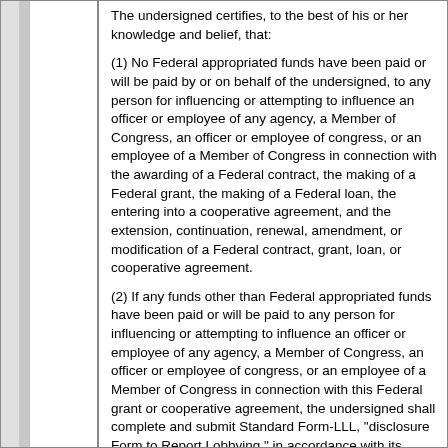The undersigned certifies, to the best of his or her knowledge and belief, that:
(1) No Federal appropriated funds have been paid or will be paid by or on behalf of the undersigned, to any person for influencing or attempting to influence an officer or employee of any agency, a Member of Congress, an officer or employee of congress, or an employee of a Member of Congress in connection with the awarding of a Federal contract, the making of a Federal grant, the making of a Federal loan, the entering into a cooperative agreement, and the extension, continuation, renewal, amendment, or modification of a Federal contract, grant, loan, or cooperative agreement.
(2) If any funds other than Federal appropriated funds have been paid or will be paid to any person for influencing or attempting to influence an officer or employee of any agency, a Member of Congress, an officer or employee of congress, or an employee of a Member of Congress in connection with this Federal grant or cooperative agreement, the undersigned shall complete and submit Standard Form-LLL, "disclosure Form to Report Lobbying," in accordance with its instructions.
(3) The undersigned shall require that the language of this certification be included in the award documents for all covered subawards exceeding $100,000 in Federal funds at all appropriate tiers and that all subrecipients shall certify